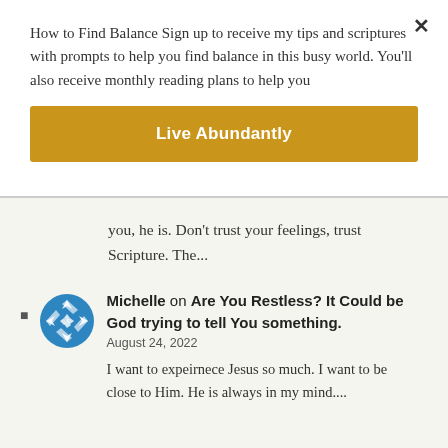How to Find Balance Sign up to receive my tips and scriptures with prompts to help you find balance in this busy world. You'll also receive monthly reading plans to help you
[Figure (other): Gold/yellow button labeled 'Live Abundantly']
you, he is. Don't trust your feelings, trust Scripture. The...
Michelle on Are You Restless? It Could be God trying to tell You something.
August 24, 2022
I want to expeirnece Jesus so much. I want to be close to Him. He is always in my mind....